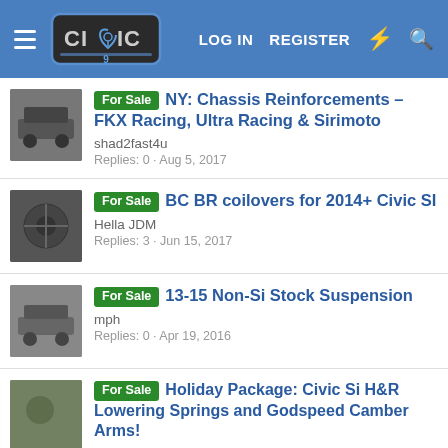Civic9 | LOG IN | REGISTER
For Sale NY: Chassis Reinforcements - FKX Racing, Ultra Racing & Sirimoto | shad2fast4u | Replies: 0 · Aug 5, 2017
For Sale BC BR coilovers for 2014+ Civic SI | Hella JDM | Replies: 3 · Jun 15, 2017
For Sale 13-15 Non-Si Stock Suspension | mph | Replies: 0 · Apr 19, 2016
For Sale Holiday Package: Civic Si H&R Lowering Springs and Godspeed Camber Arms! | Michael Perez | Replies: 26 · Sep 26, 2015